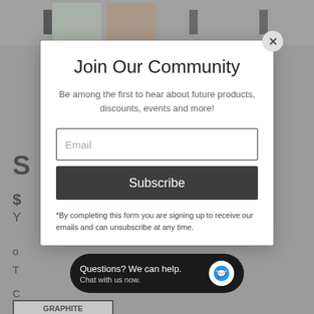[Figure (screenshot): Background webpage with greyed-out product page showing thumbnails at top, large S letter, price, and product details partially visible behind modal overlay]
Join Our Community
Be among the first to hear about future products, discounts, events and more!
Email
Subscribe
*By completing this form you are signing up to receive our emails and can unsubscribe at any time.
Questions? We can help. Chat with us now.